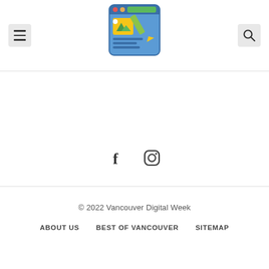[Figure (logo): Website/blog icon: a blue browser window with a yellow image placeholder and a green pencil, representing a content website logo]
[Figure (other): Hamburger menu button (three horizontal lines) in a light gray rounded square]
[Figure (other): Search magnifying glass icon in a light gray rounded square]
[Figure (other): Facebook icon (f) in dark gray]
[Figure (other): Instagram icon (camera outline) in dark gray]
© 2022 Vancouver Digital Week
ABOUT US
BEST OF VANCOUVER
SITEMAP